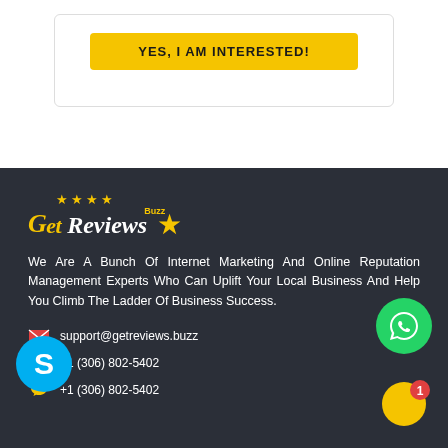YES, I AM INTERESTED!
[Figure (logo): GetReviews Buzz logo with gold stars and text on dark background]
We Are A Bunch Of Internet Marketing And Online Reputation Management Experts Who Can Uplift Your Local Business And Help You Climb The Ladder Of Business Success.
support@getreviews.buzz
+1 (306) 802-5402
+1 (306) 802-5402
[Figure (logo): Skype icon blue circle with S]
[Figure (logo): WhatsApp icon green circle with phone handset]
[Figure (logo): Chat bubble icon gold/yellow with notification badge showing 1]